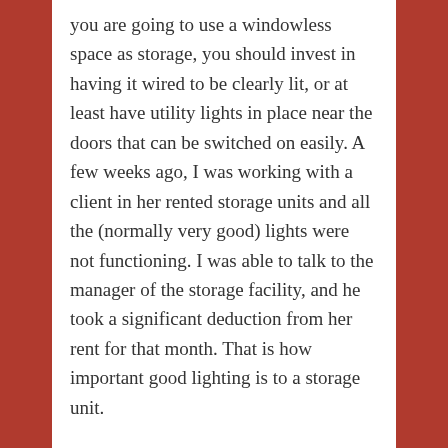you are going to use a windowless space as storage, you should invest in having it wired to be clearly lit, or at least have utility lights in place near the doors that can be switched on easily. A few weeks ago, I was working with a client in her rented storage units and all the (normally very good) lights were not functioning. I was able to talk to the manager of the storage facility, and he took a significant deduction from her rent for that month. That is how important good lighting is to a storage unit.
Task lighting is extremely valuable in time management and productivity. Clean, bright light will enable you to work longer without the eyes tiring and is a big energy booster. Try to have the best light possible, preferably adjustable in height and direction, in any area you do paper